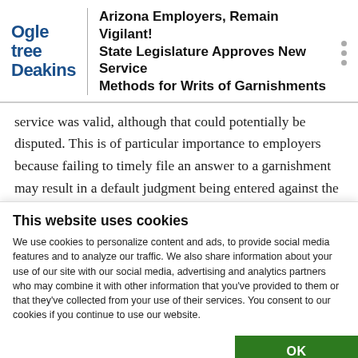Arizona Employers, Remain Vigilant! State Legislature Approves New Service Methods for Writs of Garnishments
service was valid, although that could potentially be disputed. This is of particular importance to employers because failing to timely file an answer to a garnishment may result in a default judgment being entered against the employer-garnishee for the full amount of the underlying judgment against the current or
This website uses cookies
We use cookies to personalize content and ads, to provide social media features and to analyze our traffic. We also share information about your use of our site with our social media, advertising and analytics partners who may combine it with other information that you've provided to them or that they've collected from your use of their services. You consent to our cookies if you continue to use our website.
OK
Necessary   Preferences   Statistics   Marketing   Show details